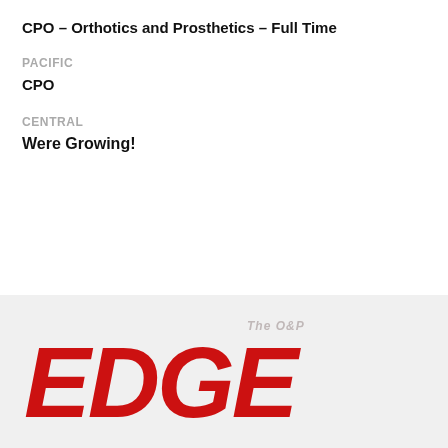CPO – Orthotics and Prosthetics – Full Time
PACIFIC
CPO
CENTRAL
Were Growing!
[Figure (logo): The O&P EDGE logo in large bold red italic text on a light gray background]